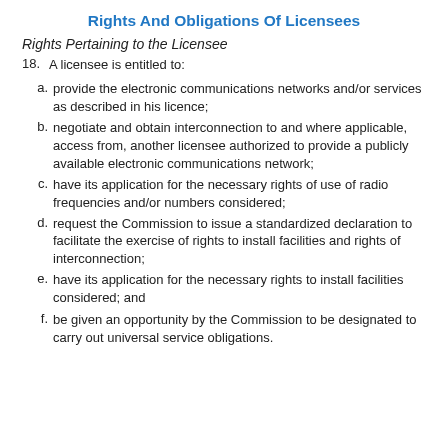Rights And Obligations Of Licensees
Rights Pertaining to the Licensee
18. A licensee is entitled to:
a. provide the electronic communications networks and/or services as described in his licence;
b. negotiate and obtain interconnection to and where applicable, access from, another licensee authorized to provide a publicly available electronic communications network;
c. have its application for the necessary rights of use of radio frequencies and/or numbers considered;
d. request the Commission to issue a standardized declaration to facilitate the exercise of rights to install facilities and rights of interconnection;
e. have its application for the necessary rights to install facilities considered; and
f. be given an opportunity by the Commission to be designated to carry out universal service obligations.